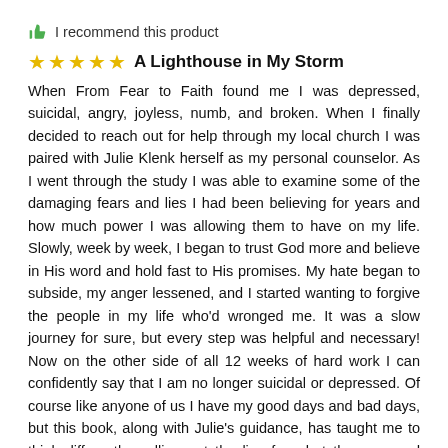I recommend this product
A Lighthouse in My Storm
When From Fear to Faith found me I was depressed, suicidal, angry, joyless, numb, and broken. When I finally decided to reach out for help through my local church I was paired with Julie Klenk herself as my personal counselor. As I went through the study I was able to examine some of the damaging fears and lies I had been believing for years and how much power I was allowing them to have on my life. Slowly, week by week, I began to trust God more and believe in His word and hold fast to His promises. My hate began to subside, my anger lessened, and I started wanting to forgive the people in my life who'd wronged me. It was a slow journey for sure, but every step was helpful and necessary! Now on the other side of all 12 weeks of hard work I can confidently say that I am no longer suicidal or depressed. Of course like anyone of us I have my good days and bad days, but this book, along with Julie's guidance, has taught me to think differently; calling out the lies for what they are and believing the truth.
I would highly recommend this study for anyone struggling through suicidal thoughts or depression.